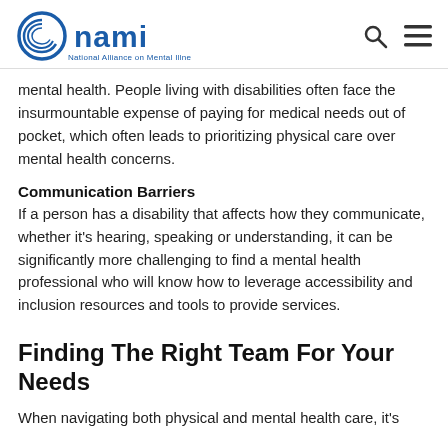NAMI - National Alliance on Mental Illness
mental health. People living with disabilities often face the insurmountable expense of paying for medical needs out of pocket, which often leads to prioritizing physical care over mental health concerns.
Communication Barriers
If a person has a disability that affects how they communicate, whether it's hearing, speaking or understanding, it can be significantly more challenging to find a mental health professional who will know how to leverage accessibility and inclusion resources and tools to provide services.
Finding The Right Team For Your Needs
When navigating both physical and mental health care, it's